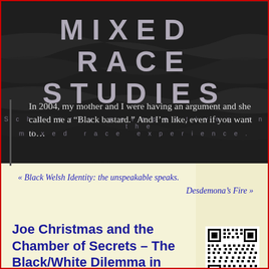MIXED RACE STUDIES
Scholarly perspectives on the mixed race experience.
In 2004, my mother and I were having an argument and she called me a “Black bastard.” And I’m like, even if you want to…
« Black Welsh Identity: the unspeakable speaks.
Desdemona’s Fire »
Joe Christmas and the Chamber of Secrets – The Black/White Dilemma in William Faulkner’s
[Figure (other): QR code linking to article]